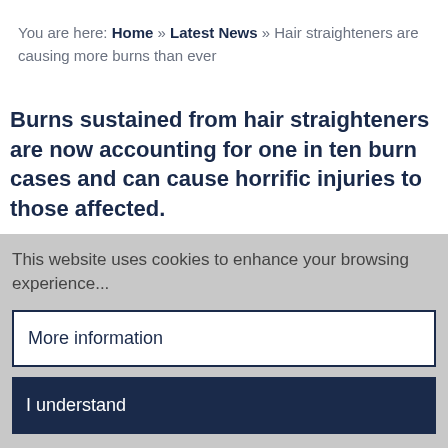You are here: Home » Latest News » Hair straighteners are causing more burns than ever
Burns sustained from hair straighteners are now accounting for one in ten burn cases and can cause horrific injuries to those affected.
This website uses cookies to enhance your browsing experience...
More information
I understand